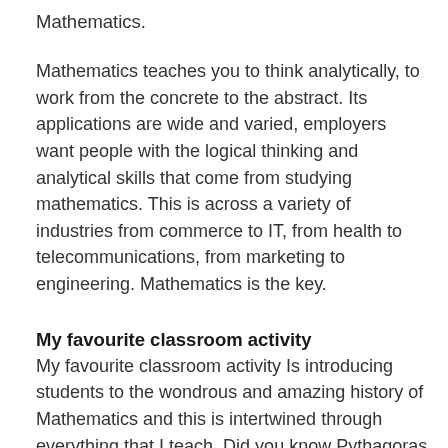Mathematics.
Mathematics teaches you to think analytically, to work from the concrete to the abstract. Its applications are wide and varied, employers want people with the logical thinking and analytical skills that come from studying mathematics. This is across a variety of industries from commerce to IT, from health to telecommunications, from marketing to engineering. Mathematics is the key.
My favourite classroom activity
My favourite classroom activity Is introducing students to the wondrous and amazing history of Mathematics and this is intertwined through everything that I teach. Did you know Pythagoras started a cult in ancient Greece? Yes the Pythagoreans were a cult of Mathematics, and Pythagoras thereom was probably developed by the